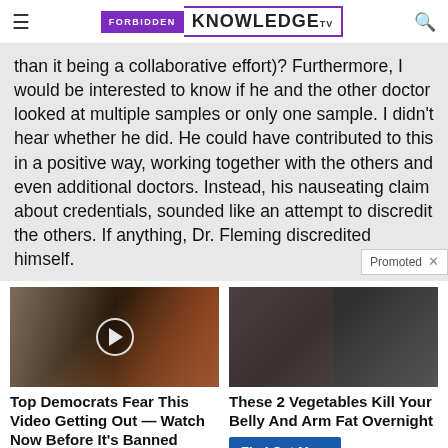FORBIDDEN KNOWLEDGE TV
than it being a collaborative effort)? Furthermore, I would be interested to know if he and the other doctor looked at multiple samples or only one sample. I didn't hear whether he did. He could have contributed to this in a positive way, working together with the others and even additional doctors. Instead, his nauseating claim about credentials, sounded like an attempt to discredit the others. If anything, Dr. Fleming discredited himself.
[Figure (photo): Left ad: photo of two people (woman and man in suit with red tie), with a video play button overlay]
Top Democrats Fear This Video Getting Out — Watch Now Before It's Banned
[Figure (photo): Right ad: before and after photo of person's back/torso showing body transformation]
These 2 Vegetables Kill Your Belly And Arm Fat Overnight